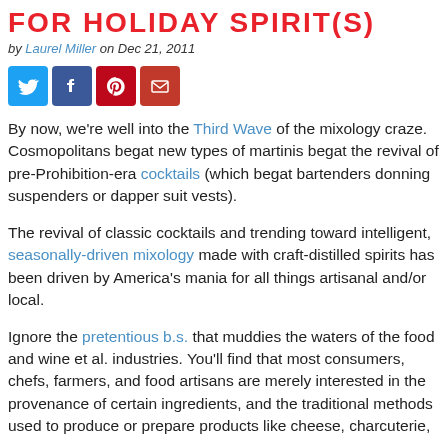FOR HOLIDAY SPIRIT(S)
by Laurel Miller on Dec 21, 2011
[Figure (other): Social sharing buttons: Twitter, Facebook, Pinterest, Email]
By now, we're well into the Third Wave of the mixology craze. Cosmopolitans begat new types of martinis begat the revival of pre-Prohibition-era cocktails (which begat bartenders donning suspenders or dapper suit vests).
The revival of classic cocktails and trending toward intelligent, seasonally-driven mixology made with craft-distilled spirits has been driven by America's mania for all things artisanal and/or local.
Ignore the pretentious b.s. that muddies the waters of the food and wine et al. industries. You'll find that most consumers, chefs, farmers, and food artisans are merely interested in the provenance of certain ingredients, and the traditional methods used to produce or prepare products like cheese, charcuterie,